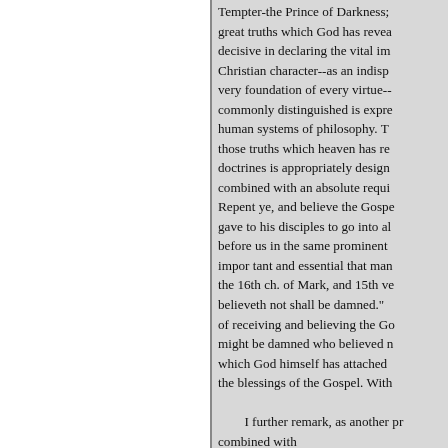Tempter-the Prince of Darkness; great truths which God has revealed decisive in declaring the vital importance of Christian character--as an indispensable very foundation of every virtue-- commonly distinguished is expressed in human systems of philosophy. Those truths which heaven has revealed, doctrines is appropriately designed, combined with an absolute requirement. Repent ye, and believe the Gospel, gave to his disciples to go into all before us in the same prominent important and essential that man the 16th ch. of Mark, and 15th verse, believeth not shall be damned." of receiving and believing the Gospel might be damned who believed not which God himself has attached the blessings of the Gospel. With I further remark, as another proof combined with